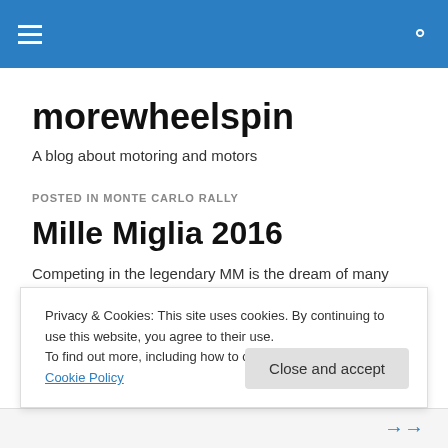morewheelspin — navigation bar
morewheelspin
A blog about motoring and motors
POSTED IN MONTE CARLO RALLY
Mille Miglia 2016
Competing in the legendary MM is the dream of many
Privacy & Cookies: This site uses cookies. By continuing to use this website, you agree to their use.
To find out more, including how to control cookies, see here: Cookie Policy
Close and accept